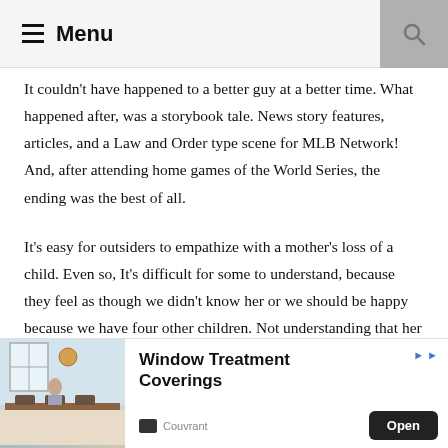Menu
It couldn't have happened to a better guy at a better time. What happened after, was a storybook tale. News story features, articles, and a Law and Order type scene for MLB Network! And, after attending home games of the World Series, the ending was the best of all.
It's easy for outsiders to empathize with a mother's loss of a child. Even so, It's difficult for some to understand, because they feel as though we didn't know her or we should be happy because we have four other children. Not understanding that her and holding her little body in our arms, forever
[Figure (photo): Advertisement banner: interior room with window, person seated at table. Text: Window Treatment Coverings. Open button. Brand: Couvrant.]